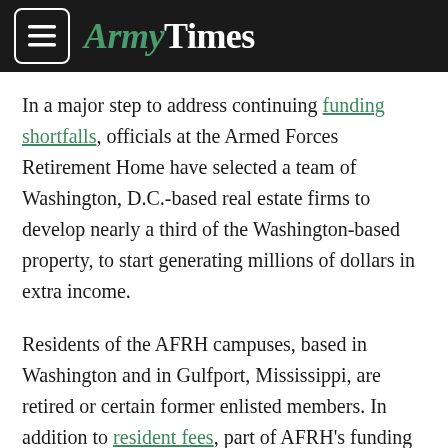ArmyTimes
In a major step to address continuing funding shortfalls, officials at the Armed Forces Retirement Home have selected a team of Washington, D.C.-based real estate firms to develop nearly a third of the Washington-based property, to start generating millions of dollars in extra income.
Residents of the AFRH campuses, based in Washington and in Gulfport, Mississippi, are retired or certain former enlisted members. In addition to resident fees, part of AFRH's funding currently comes from the 50-cent-a-month deduction from active-duty enlisted service members' paychecks, and fines